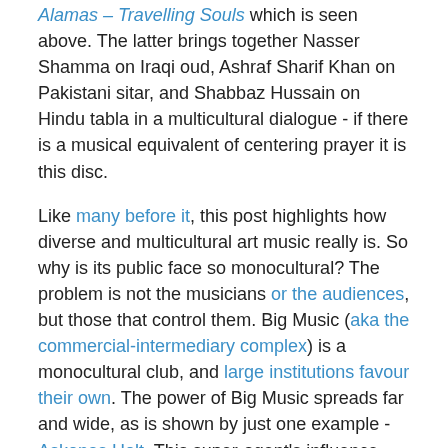Alamas – Travelling Souls which is seen above. The latter brings together Nasser Shamma on Iraqi oud, Ashraf Sharif Khan on Pakistani sitar, and Shabbaz Hussain on Hindu tabla in a multicultural dialogue - if there is a musical equivalent of centering prayer it is this disc.
Like many before it, this post highlights how diverse and multicultural art music really is. So why is its public face so monocultural? The problem is not the musicians or the audiences, but those that control them. Big Music (aka the commercial-intermediary complex) is a monocultural club, and large institutions favour their own. The power of Big Music spreads far and wide, as is shown by just one example - Askonas Holt. This super-agent's influence ranges from managing Daniel Barenboim and Simon Rattle, through masterminding West-Eastern Divan Orchestra and Simón Bolívar Symphony Orchestra tours, to providing endorsements for Candace Allen's plea for diversity, and beyond.